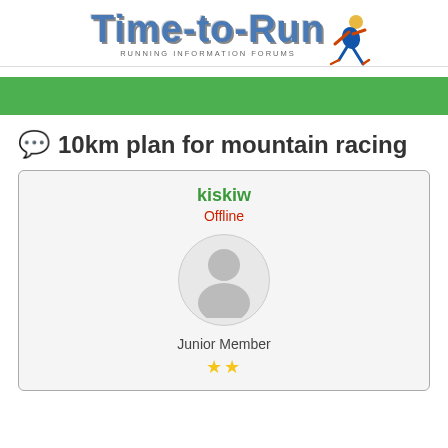[Figure (logo): Time-to-Run logo with running information forums tagline and runner graphic]
[Figure (other): Green navigation/menu bar]
10km plan for mountain racing
kiskiw
Offline
[Figure (illustration): Default user avatar - silhouette of person in circle]
Junior Member
★★